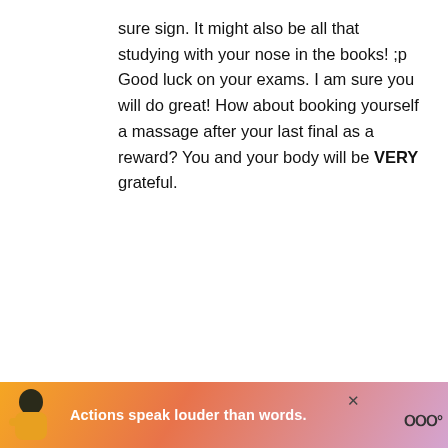sure sign. It might also be all that studying with your nose in the books! ;p Good luck on your exams. I am sure you will do great! How about booking yourself a massage after your last final as a reward? You and your body will be VERY grateful.
Reply
Olivia says
December 10, 2008 at 10:54 am
[Figure (infographic): Advertisement banner with coral/pink gradient background, person figure on left, bold text 'Actions speak louder than words.' and brand logo on right]